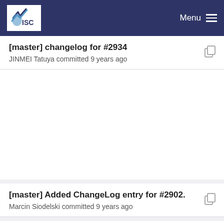ISC | Menu
[master] changelog for #2934
JINMEI Tatuya committed 9 years ago
[master] Added ChangeLog entry for #2902.
Marcin Siodelski committed 9 years ago
[master] Added ChangeLog entry for #2786.
Marcin Siodelski committed 9 years ago